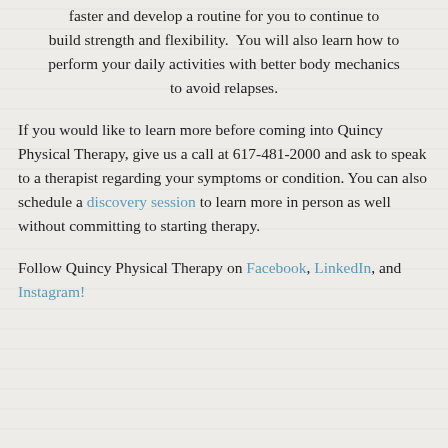faster and develop a routine for you to continue to build strength and flexibility.  You will also learn how to perform your daily activities with better body mechanics to avoid relapses.
If you would like to learn more before coming into Quincy Physical Therapy, give us a call at 617-481-2000 and ask to speak to a therapist regarding your symptoms or condition. You can also schedule a discovery session to learn more in person as well without committing to starting therapy.
Follow Quincy Physical Therapy on Facebook, LinkedIn, and Instagram!